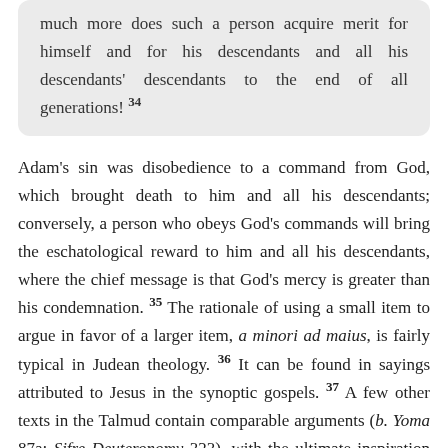of well. and who fasts on the Day of Atonement, how much more does such a person acquire merit for himself and for his descendants and all his descendants' descendants to the end of all generations! 34
Adam's sin was disobedience to a command from God, which brought death to him and all his descendants; conversely, a person who obeys God's commands will bring the eschatological reward to him and all his descendants, where the chief message is that God's mercy is greater than his condemnation. 35 The rationale of using a small item to argue in favor of a larger item, a minori ad maius, is fairly typical in Judean theology. 36 It can be found in sayings attributed to Jesus in the synoptic gospels. 37 A few other texts in the Talmud contain comparable arguments (b. Yoma 87a; Sifre Deuteronomy 323), with the ultimate inspiration for it possibly being the combination of Exo 20.5–6 and